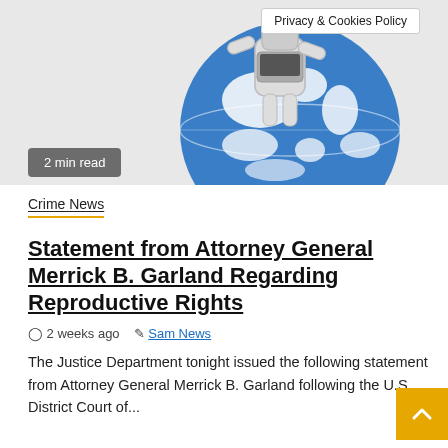[Figure (illustration): A 3D robot/figure sitting on top of a blue and white globe, representing internet or cybersecurity. A white privacy & cookies policy tooltip is visible in the upper right of the image.]
2 min read
Privacy & Cookies Policy
Crime News
Statement from Attorney General Merrick B. Garland Regarding Reproductive Rights
2 weeks ago  Sam News
The Justice Department tonight issued the following statement from Attorney General Merrick B. Garland following the U.S. District Court of...